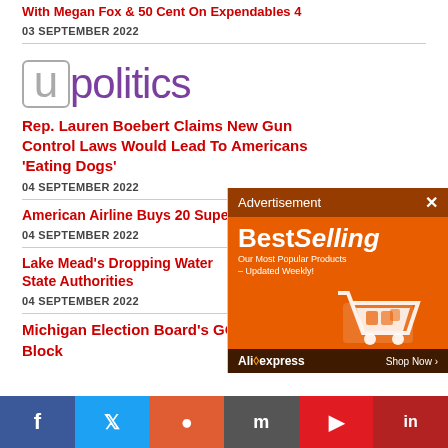With Megan Fox & 50 Cent On Expendables 4
03 SEPTEMBER 2022
[Figure (logo): upolitics logo — stylized 'u' in a box followed by 'politics' in purple]
Rep. Lauren Boebert Claims New Gun Control Laws Would Lead To Americans ‘Eating Dogs’
04 SEPTEMBER 2022
American Airline Buys 20 Supe…
04 SEPTEMBER 2022
Lake Mead's Dropping Water … State Authorities
04 SEPTEMBER 2022
Michigan Election Board’s GOP Members Block
[Figure (screenshot): AliExpress BestSelling advertisement overlay with orange background, shopping cart graphic, and 'Shop Now' button]
[Figure (infographic): Social media share bar with Facebook (blue), Twitter (light blue), Reddit (orange-red), Mix (dark blue), Flipboard (red), LinkedIn (red) buttons]